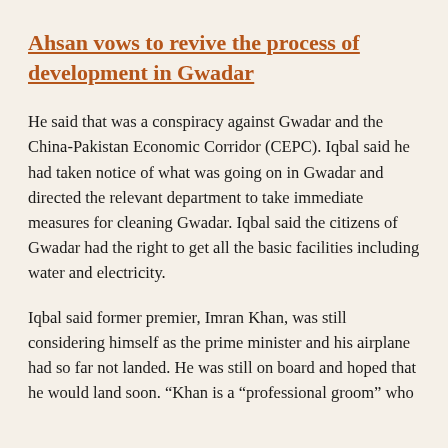Ahsan vows to revive the process of development in Gwadar
He said that was a conspiracy against Gwadar and the China-Pakistan Economic Corridor (CEPC). Iqbal said he had taken notice of what was going on in Gwadar and directed the relevant department to take immediate measures for cleaning Gwadar. Iqbal said the citizens of Gwadar had the right to get all the basic facilities including water and electricity.
Iqbal said former premier, Imran Khan, was still considering himself as the prime minister and his airplane had so far not landed. He was still on board and hoped that he would land soon. “Khan is a “professional groom” who